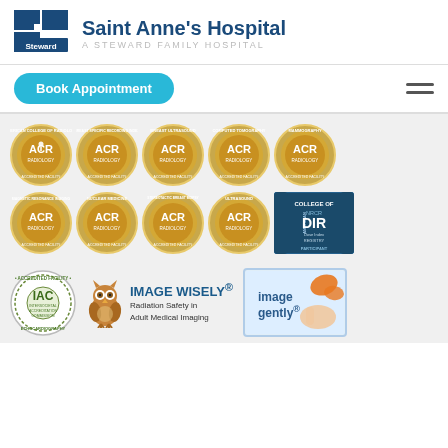[Figure (logo): Saint Anne's Hospital - A Steward Family Hospital logo with blue square Steward logo on the left and hospital name on the right]
[Figure (infographic): Book Appointment teal button and hamburger menu icon]
[Figure (infographic): Two rows of ACR (American College of Radiology) accreditation gold badge seals - Row 1: American College of Radiology, Breast Specific Recording Index, Breast Ultrasound, Computed Tomography, Mammography all labeled Accredited Facility. Row 2: Magnetic Resonance Imaging, Nuclear Medicine, Stereotactic Breast Biopsy, Ultrasound Accredited Facility badges, plus NRCR DIR Dose Index Registry Participant badge]
[Figure (infographic): IAC Accredited Facility Echocardiography circular badge, Image Wisely owl logo with text 'IMAGE WISELY Radiation Safety in Adult Medical Imaging', and image gently badge with butterfly and finger]